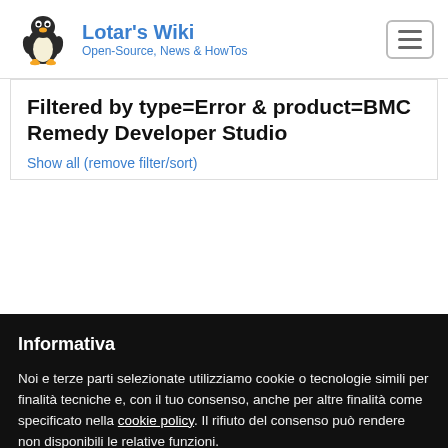Lotar's Wiki — Open-Source, News & HowTos
Filtered by type=Error & product=BMC Remedy Developer Studio
Show all (remove filter/sort)
Informativa
Noi e terze parti selezionate utilizziamo cookie o tecnologie simili per finalità tecniche e, con il tuo consenso, anche per altre finalità come specificato nella cookie policy. Il rifiuto del consenso può rendere non disponibili le relative funzioni.
Per quanto riguarda la pubblicità, noi e terze parti selezionate, potremmo utilizzare dati di geolocalizzazione precisi e l'identificazione attraverso la scansione del dispositivo, al fine di archiviare e/o accedere a informazioni su un dispositivo e trattare
Accetta
Scopri di più e personalizza